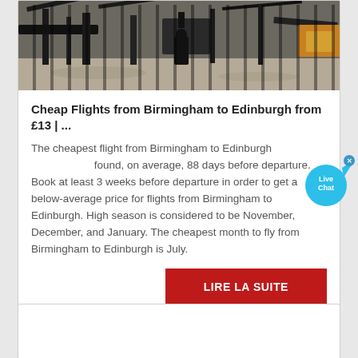[Figure (photo): Construction machinery / heavy equipment on a sandy/rocky work site, dark industrial tones]
Cheap Flights from Birmingham to Edinburgh from £13 | ...
The cheapest flight from Birmingham to Edinburgh found, on average, 88 days before departure. Book at least 3 weeks before departure in order to get a below-average price for flights from Birmingham to Edinburgh. High season is considered to be November, December, and January. The cheapest month to fly from Birmingham to Edinburgh is July.
LIRE LA SUITE